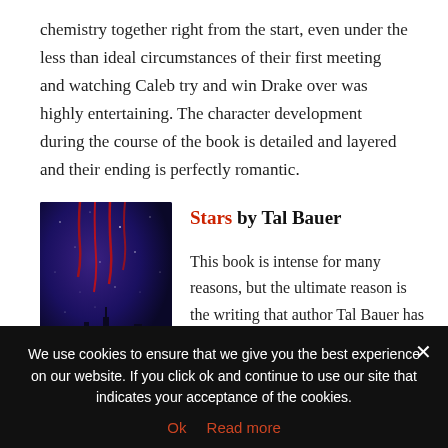chemistry together right from the start, even under the less than ideal circumstances of their first meeting and watching Caleb try and win Drake over was highly entertaining. The character development during the course of the book is detailed and layered and their ending is perfectly romantic.
[Figure (photo): Book cover of 'Stars' by Tal Bauer — dark blue/purple background with red dripping lines and a city skyline silhouette, text 'stars tal bauer' at bottom center]
Stars by Tal Bauer
This book is intense for many reasons, but the ultimate reason is the writing that author Tal Bauer has infused into every scene.
We use cookies to ensure that we give you the best experience on our website. If you click ok and continue to use our site that indicates your acceptance of the cookies.